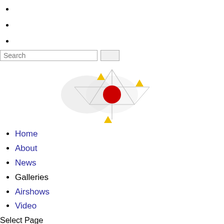[Figure (logo): Website logo with geometric triangular/atomic design featuring yellow triangles and a red circle center, with light gray background shapes]
Home
About
News
Galleries
Airshows
Video
Select Page
Life's a Beech Adventure.
Posted by Motty | Jul 27, 2017 | Civil Aviation, Classic & Vintage